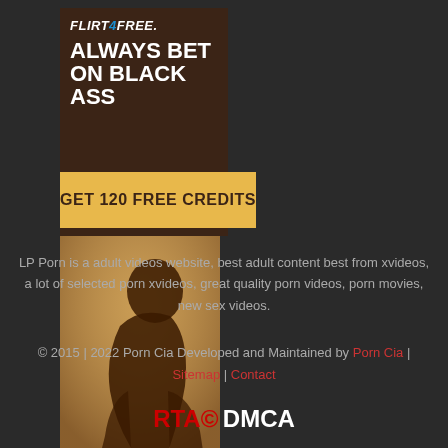[Figure (illustration): Flirt4Free adult advertisement banner with dark brown left panel showing logo and headline text 'ALWAYS BET ON BLACK ASS', golden button with text 'GET 120 FREE CREDITS', and right panel with a photo of a woman]
LP Porn is a adult videos website, best adult content best from xvideos, a lot of selected porn xvideos, great quality porn videos, porn movies, new sex videos.
© 2015 | 2022 Porn Cia Developed and Maintained by Porn Cia | Sitemap | Contact
RTA© DMCA